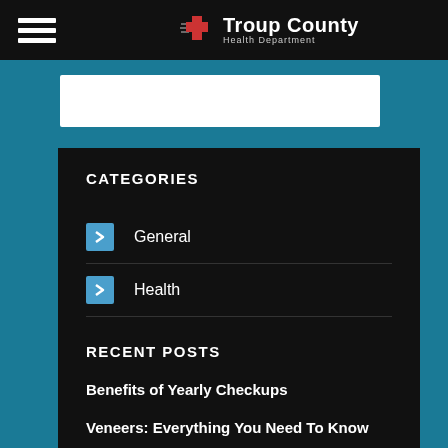Troup County Health Department
CATEGORIES
General
Health
RECENT POSTS
Benefits of Yearly Checkups
Veneers: Everything You Need To Know